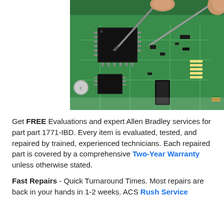[Figure (photo): Close-up photograph of a green circuit board being worked on with tools/tweezers by technician hands. Multiple electronic components including ICs, capacitors, and connectors are visible on the board.]
Get FREE Evaluations and expert Allen Bradley services for part part 1771-IBD. Every item is evaluated, tested, and repaired by trained, experienced technicians. Each repaired part is covered by a comprehensive Two-Year Warranty unless otherwise stated.
Fast Repairs - Quick Turnaround Times. Most repairs are back in your hands in 1-2 weeks. ACS Rush Service